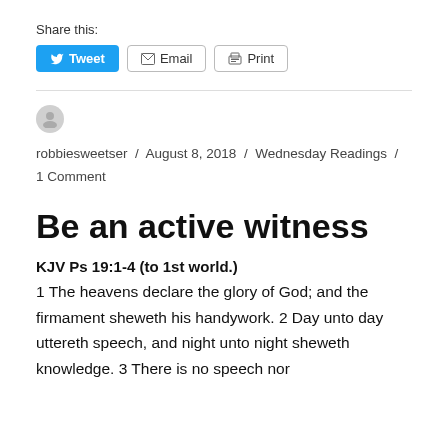Share this:
Tweet  Email  Print
robbiesweetser / August 8, 2018 / Wednesday Readings / 1 Comment
Be an active witness
KJV Ps 19:1-4 (to 1st world.)
1 The heavens declare the glory of God; and the firmament sheweth his handywork. 2 Day unto day uttereth speech, and night unto night sheweth knowledge. 3 There is no speech nor